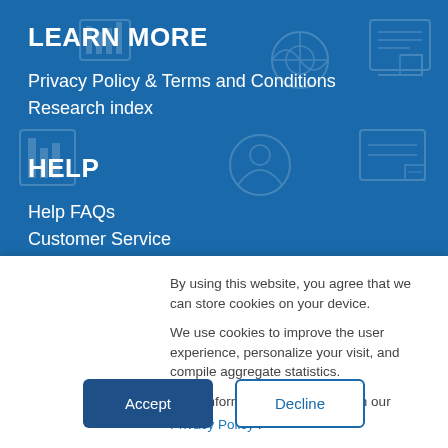LEARN MORE
Privacy Policy & Terms and Conditions
Research index
HELP
Help FAQs
Customer Service
By using this website, you agree that we can store cookies on your device.
We use cookies to improve the user experience, personalize your visit, and compile aggregate statistics.
More information can be found in our Privacy Policy .